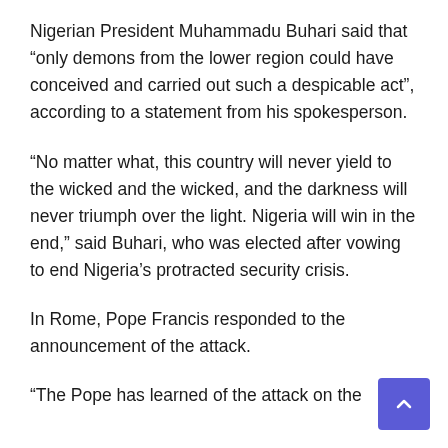Nigerian President Muhammadu Buhari said that “only demons from the lower region could have conceived and carried out such a despicable act”, according to a statement from his spokesperson.
“No matter what, this country will never yield to the wicked and the wicked, and the darkness will never triumph over the light. Nigeria will win in the end,” said Buhari, who was elected after vowing to end Nigeria’s protracted security crisis.
In Rome, Pope Francis responded to the announcement of the attack.
“The Pope has learned of the attack on the